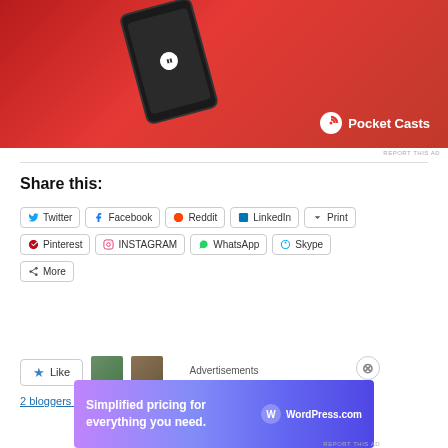[Figure (photo): Pocket Casts app advertisement showing a red smartphone with podcast player interface and Pocket Casts logo on red background]
REPORT THIS AD
Share this:
Twitter
Facebook
Reddit
LinkedIn
Print
Pinterest
INSTAGRAM
WhatsApp
Skype
More
[Figure (other): Like button with star icon and two blogger avatars]
2 bloggers like this
Advertisements
[Figure (other): WordPress.com advertisement: Simplified pricing for everything you need.]
REPORT THIS AD